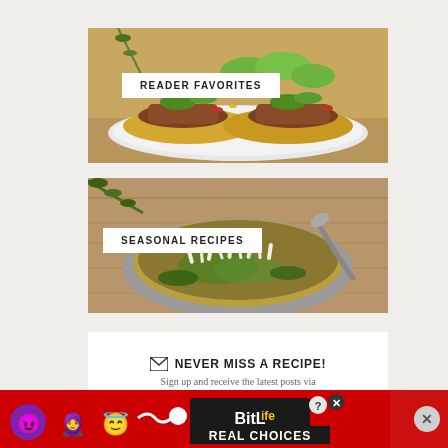[Figure (photo): Close-up photo of tacos with pulled meat, avocado slices, vegetables on corn tortillas on a white plate]
READER FAVORITES
[Figure (photo): Overhead photo of a bowl of green herb soup with shredded cheese and a spoon, with rosemary garnish on wooden background]
SEASONAL RECIPES
✉ NEVER MISS A RECIPE!
Sign up and receive the latest posts via
[Figure (photo): BitLife advertisement banner with emoji characters on red background reading REAL CHOICES]